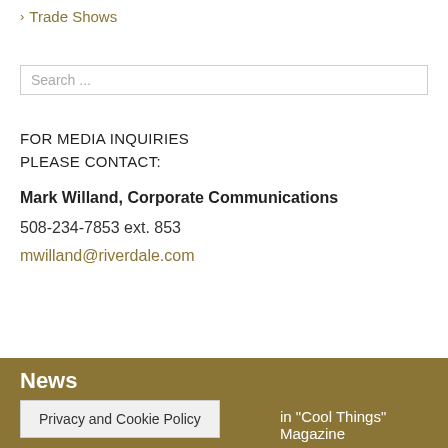Trade Shows
Search ...
FOR MEDIA INQUIRIES
PLEASE CONTACT:
Mark Willand, Corporate Communications
508-234-7853 ext. 853
mwilland@riverdale.com
News
Privacy and Cookie Policy
in "Cool Things" Magazine